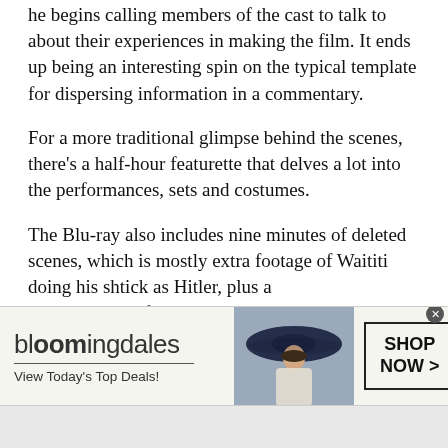he begins calling members of the cast to talk to about their experiences in making the film. It ends up being an interesting spin on the typical template for dispersing information in a commentary.
For a more traditional glimpse behind the scenes, there's a half-hour featurette that delves a lot into the performances, sets and costumes.
The Blu-ray also includes nine minutes of deleted scenes, which is mostly extra footage of Waititi doing his shtick as Hitler, plus a three-and-a-half-minute outtakes reel.
Vudu, as it tends to do, offers a two-minute “Taika Talk” featurette with footage culled from other
[Figure (other): Bloomingdale's advertisement banner with logo, tagline 'View Today's Top Deals!', image of woman in wide-brim hat, and 'SHOP NOW >' button]